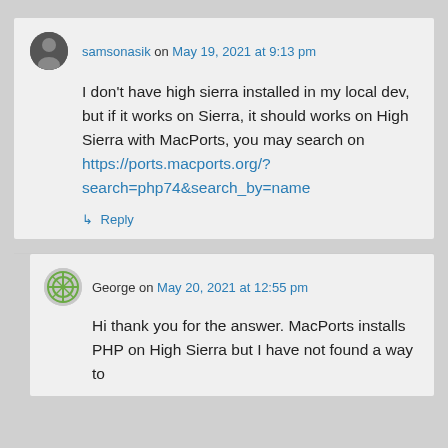samsonasik on May 19, 2021 at 9:13 pm
I don't have high sierra installed in my local dev, but if it works on Sierra, it should works on High Sierra with MacPorts, you may search on https://ports.macports.org/?search=php74&search_by=name
↳ Reply
George on May 20, 2021 at 12:55 pm
Hi thank you for the answer. MacPorts installs PHP on High Sierra but I have not found a way to